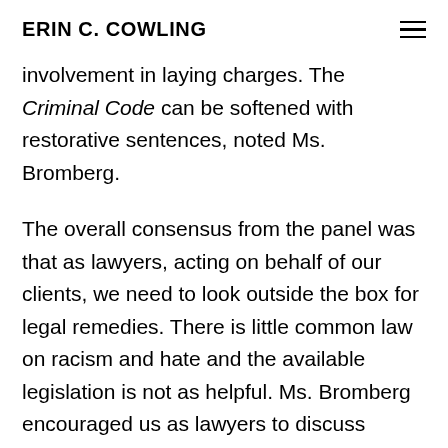ERIN C. COWLING
involvement in laying charges. The Criminal Code can be softened with restorative sentences, noted Ms. Bromberg.
The overall consensus from the panel was that as lawyers, acting on behalf of our clients, we need to look outside the box for legal remedies. There is little common law on racism and hate and the available legislation is not as helpful. Ms. Bromberg encouraged us as lawyers to discuss among ourselves what tools we want added to our toolbox. Lawyers